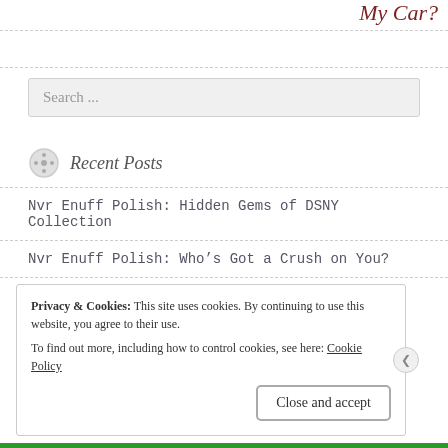My Car?
Search ...
Recent Posts
Nvr Enuff Polish: Hidden Gems of DSNY Collection
Nvr Enuff Polish: Who's Got a Crush on You?
Privacy & Cookies: This site uses cookies. By continuing to use this website, you agree to their use. To find out more, including how to control cookies, see here: Cookie Policy
Close and accept